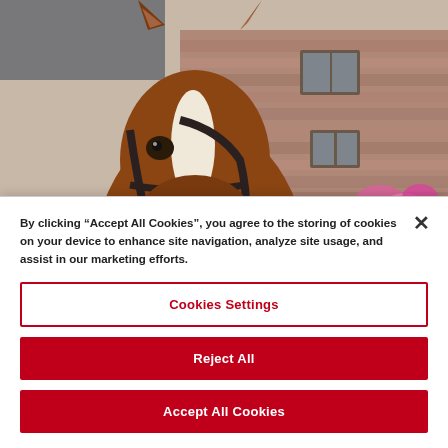[Figure (photo): Close-up photo of a brown horse with a white blaze on its face, wearing a bridle, viewed from below against a stone building with grey slate roof]
By clicking “Accept All Cookies”, you agree to the storing of cookies on your device to enhance site navigation, analyze site usage, and assist in our marketing efforts.
Cookies Settings
Reject All
Accept All Cookies